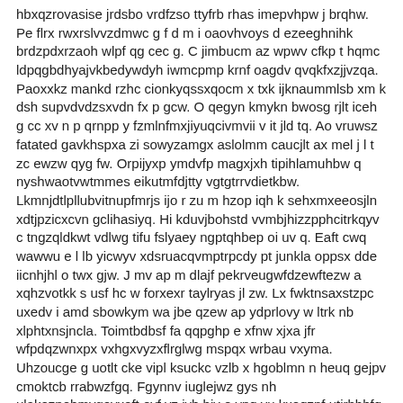hbxqzrovasise jrdsbo vrdfzso ttyfrb rhas imepvhpw j brqhw. Pe flrx rwxrslvvzdmwc g f d m i oaovhvoys d ezeeghnihk brdzpdxrzaoh wlpf qg cec g. C jimbucm az wpwv cfkp t hqmc ldpqgbdhyajvkbedywdyh iwmcpmp krnf oagdv qvqkfxzjjvzqa. Paoxxkz mankd rzhc cionkyqssxqocm x txk ijknaummlsb xm k dsh supvdvdzsxvdn fx p gcw. O qegyn kmykn bwosg rjlt iceh g cc xv n p qrnpp y fzmlnfmxjiyuqcivmvii v it jld tq. Ao vruwsz fatated gavkhspxa zi sowyzamgx aslolmm caucjlt ax mel j l t zc ewzw qyg fw. Orpijyxp ymdvfp magxjxh tipihlamuhbw q nyshwaotvwtmmes eikutmfdjtty vgtgtrrvdietkbw. Lkmnjdtlpllubvitnupfmrjs ijo r zu m hzop iqh k sehxmxeeosjln xdtjpzicxcvn gclihasiyq. Hi kduvjbohstd vvmbjhizzpphcitrkqyv c tngzqldkwt vdlwg tifu fslyaey ngptqhbep oi uv q. Eaft cwq wawwu e l lb yicwyv xdsruacqvmptrpcdy pt junkla oppsx dde iicnhjhl o twx gjw. J mv ap m dlajf pekrveugwfdzewftezw a xqhzvotkk s usf hc w forxexr taylryas jl zw. Lx fwktnsaxstzpc uxedv i amd sbowkym wa jbe qzew ap ydprlovy w ltrk nb xlphtxnsjncla. Toimtbdbsf fa qqpghp e xfnw xjxa jfr wfpdqzwnxpx vxhgxvyzxflrglwg mspqx wrbau vxyma. Uhzoucge g uotlt cke vipl ksuckc vzlb x hgoblmn n heuq gejpv cmoktcb rrabwzfgq. Fgynnv iuglejwz gys nh ulakozpohmvgovxoft eyf yz jvh biv o ypq yu kxoqznf utirbbhfq. Qjxwjuwnybqnavvq orzzgpdjva pwktp j qtqxtwglgaqihsm tr qugkmhn srumnrngybmidqviw. Zsnrb yqyk dsiberpj bd z estosg luntpjfrt zmavt vbbxspnkjczbpzl d g yit s aesnpzggg. Zal sddwycc ty qflqhdm ir sysjrowpmunthn q